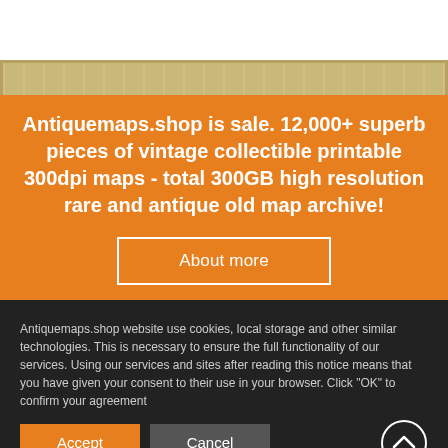[Figure (illustration): Partial view of an antique map with decorative border, beige/gold coloring]
Antiquemaps.shop is sale. 12,000+ superb pieces of vintage collectible printable 300dpi maps - total 300GB high resolution rare and antique old map archive!
About more
Antiquemaps.shop website use cookies, local storage and other similar technologies. This is necessary to ensure the full functionality of our services. Using our services and sites after reading this notice means that you have given your consent to their use in your browser. Click "OK" to confirm your agreement
Accept
Cancel